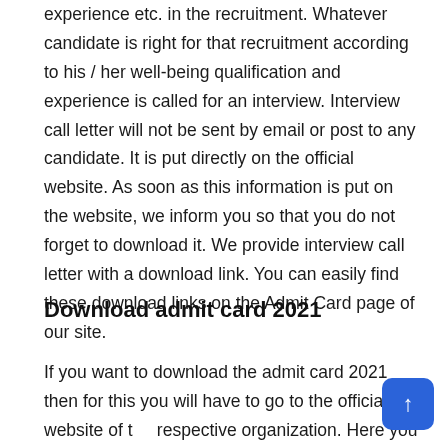experience etc. in the recruitment. Whatever candidate is right for that recruitment according to his / her well-being qualification and experience is called for an interview. Interview call letter will not be sent by email or post to any candidate. It is put directly on the official website. As soon as this information is put on the website, we inform you so that you do not forget to download it. We provide interview call letter with a download link. You can easily find these download links on the Admit Card page of our site.
Download admit card 2021
If you want to download the admit card 2021 then for this you will have to go to the official website of the respective organization. Here you will have given a